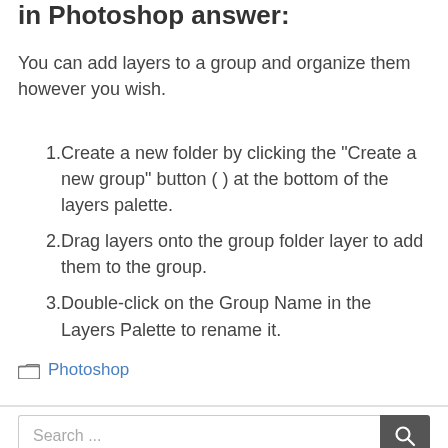in Photoshop answer:
You can add layers to a group and organize them however you wish.
Create a new folder by clicking the “Create a new group” button ( ) at the bottom of the layers palette.
Drag layers onto the group folder layer to add them to the group.
Double-click on the Group Name in the Layers Palette to rename it.
Categories: Photoshop
Search ...